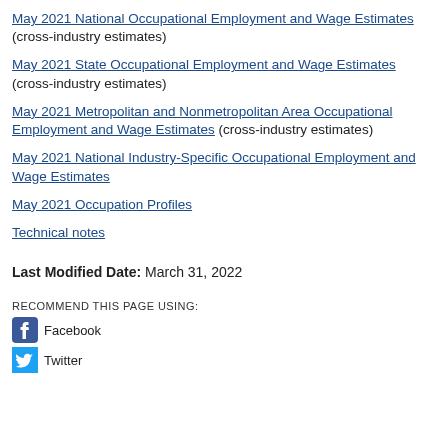May 2021 National Occupational Employment and Wage Estimates (cross-industry estimates)
May 2021 State Occupational Employment and Wage Estimates (cross-industry estimates)
May 2021 Metropolitan and Nonmetropolitan Area Occupational Employment and Wage Estimates (cross-industry estimates)
May 2021 National Industry-Specific Occupational Employment and Wage Estimates
May 2021 Occupation Profiles
Technical notes
Last Modified Date: March 31, 2022
RECOMMEND THIS PAGE USING:
Facebook
Twitter